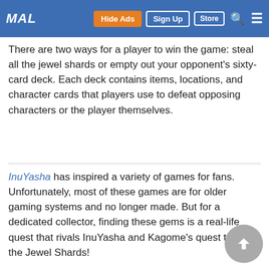MAL | Hide Ads | Sign Up | Store
There are two ways for a player to win the game: steal all the jewel shards or empty out your opponent's sixty-card deck. Each deck contains items, locations, and character cards that players use to defeat opposing characters or the player themselves.
InuYasha has inspired a variety of games for fans. Unfortunately, most of these games are for older gaming systems and no longer made. But for a dedicated collector, finding these gems is a real-life quest that rivals InuYasha and Kagome's quest to find the Jewel Shards!
[Figure (other): Social sharing buttons: Facebook, Twitter, Reddit, Tumblr]
Related Database Entries
Anime  InuYasha
InuYasha: Kanketsu-hen
Manga  InuYasha